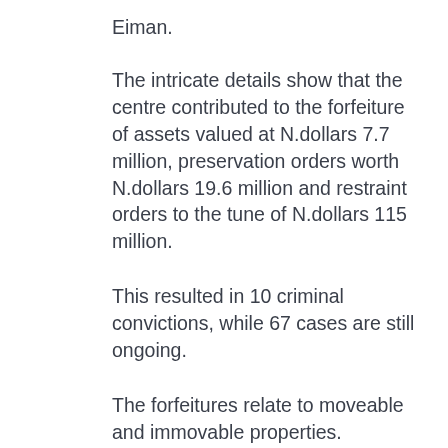Eiman.
The intricate details show that the centre contributed to the forfeiture of assets valued at N.dollars 7.7 million, preservation orders worth N.dollars 19.6 million and restraint orders to the tune of N.dollars 115 million.
This resulted in 10 criminal convictions, while 67 cases are still ongoing.
The forfeitures relate to moveable and immovable properties.
During the period under review, there were seven preservation orders in line with the Prevention of Organised Crime Act (POCA).